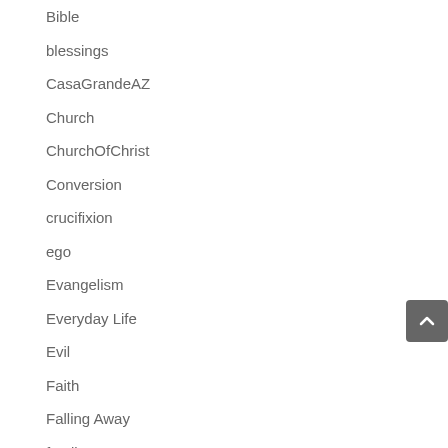Bible
blessings
CasaGrandeAZ
Church
ChurchOfChrist
Conversion
crucifixion
ego
Evangelism
Everyday Life
Evil
Faith
Falling Away
family
Forgiveness